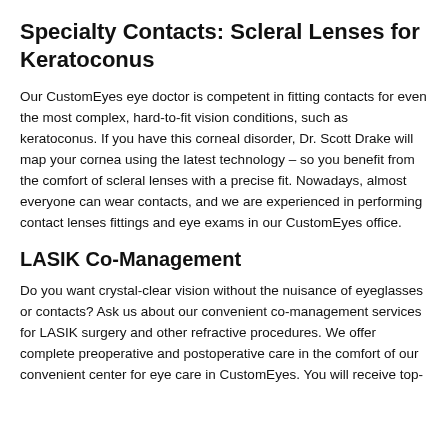Specialty Contacts: Scleral Lenses for Keratoconus
Our CustomEyes eye doctor is competent in fitting contacts for even the most complex, hard-to-fit vision conditions, such as keratoconus. If you have this corneal disorder, Dr. Scott Drake will map your cornea using the latest technology – so you benefit from the comfort of scleral lenses with a precise fit. Nowadays, almost everyone can wear contacts, and we are experienced in performing contact lenses fittings and eye exams in our CustomEyes office.
LASIK Co-Management
Do you want crystal-clear vision without the nuisance of eyeglasses or contacts? Ask us about our convenient co-management services for LASIK surgery and other refractive procedures. We offer complete preoperative and postoperative care in the comfort of our convenient center for eye care in CustomEyes. You will receive top-